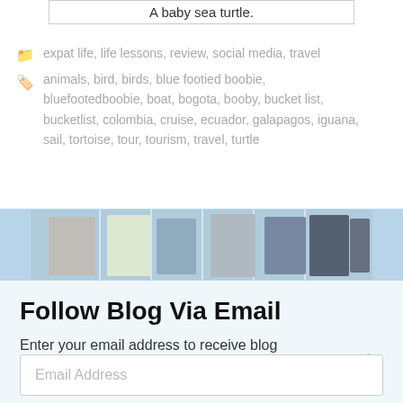A baby sea turtle.
expat life, life lessons, review, social media, travel
animals, bird, birds, blue footied boobie, bluefootedboobie, boat, bogota, booby, bucket list, bucketlist, colombia, cruise, ecuador, galapagos, iguana, sail, tortoise, tour, tourism, travel, turtle
[Figure (photo): Photo strip showing people on what appears to be a boat or cruise ship deck]
Follow Blog Via Email
Enter your email address to receive blog articles directly into your inbox.
Email Address